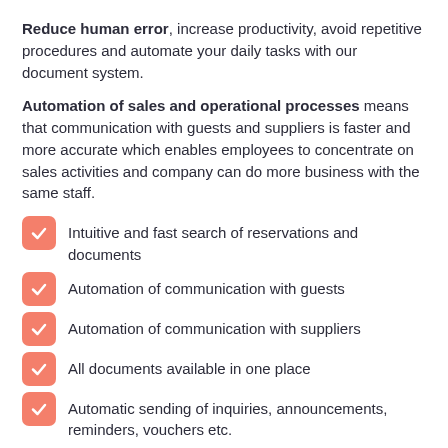Reduce human error, increase productivity, avoid repetitive procedures and automate your daily tasks with our document system.
Automation of sales and operational processes means that communication with guests and suppliers is faster and more accurate which enables employees to concentrate on sales activities and company can do more business with the same staff.
Intuitive and fast search of reservations and documents
Automation of communication with guests
Automation of communication with suppliers
All documents available in one place
Automatic sending of inquiries, announcements, reminders, vouchers etc.
Reduction of human...